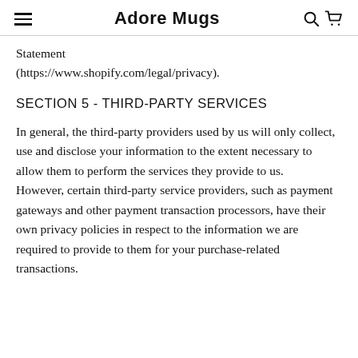Adore Mugs
Statement (https://www.shopify.com/legal/privacy).
SECTION 5 - THIRD-PARTY SERVICES
In general, the third-party providers used by us will only collect, use and disclose your information to the extent necessary to allow them to perform the services they provide to us. However, certain third-party service providers, such as payment gateways and other payment transaction processors, have their own privacy policies in respect to the information we are required to provide to them for your purchase-related transactions.